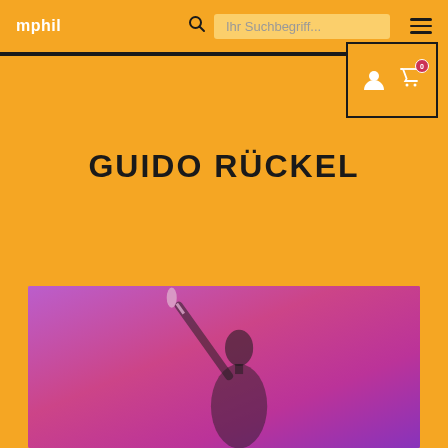mphil
GUIDO RÜCKEL
[Figure (photo): Photograph of a person (Guido Rückel) against a purple/magenta background, holding what appears to be a drumstick or similar object raised above their head. The lighting is stylized with purple and pink tones.]